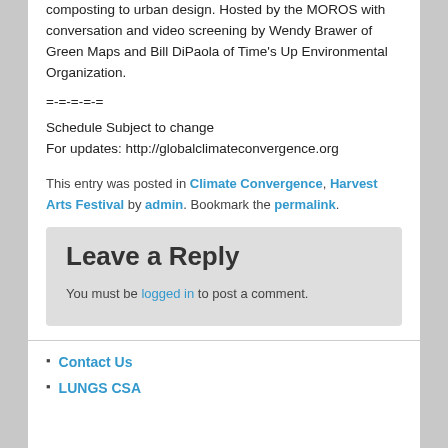composting to urban design. Hosted by the MOROS with conversation and video screening by Wendy Brawer of Green Maps and Bill DiPaola of Time's Up Environmental Organization.
=-=-=-=-=
Schedule Subject to change
For updates: http://globalclimateconvergence.org
This entry was posted in Climate Convergence, Harvest Arts Festival by admin. Bookmark the permalink.
Leave a Reply
You must be logged in to post a comment.
Contact Us
LUNGS CSA